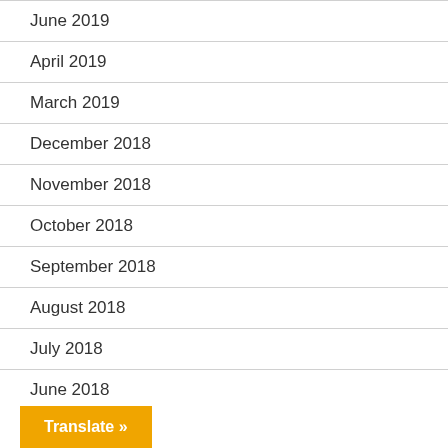June 2019
April 2019
March 2019
December 2018
November 2018
October 2018
September 2018
August 2018
July 2018
June 2018
Translate »